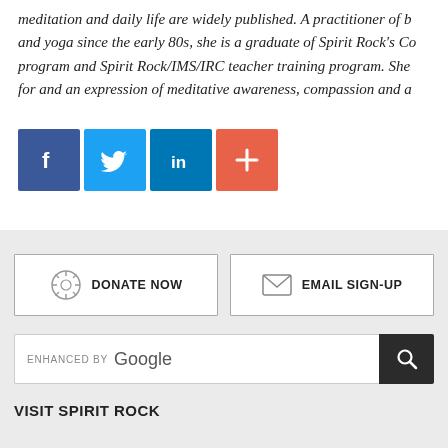meditation and daily life are widely published. A practitioner of b and yoga since the early 80s, she is a graduate of Spirit Rock's Co program and Spirit Rock/IMS/IRC teacher training program. She for and an expression of meditative awareness, compassion and a
[Figure (infographic): Four social media sharing buttons: Facebook (blue), Twitter (light blue), LinkedIn (dark blue), and a More/Plus button (orange-red)]
[Figure (infographic): Donate Now button with dharma wheel icon and Email Sign-Up button with envelope icon, on a light grey background]
[Figure (infographic): Search box with 'enhanced by Google' text and a dark search button with magnifying glass icon]
VISIT SPIRIT ROCK